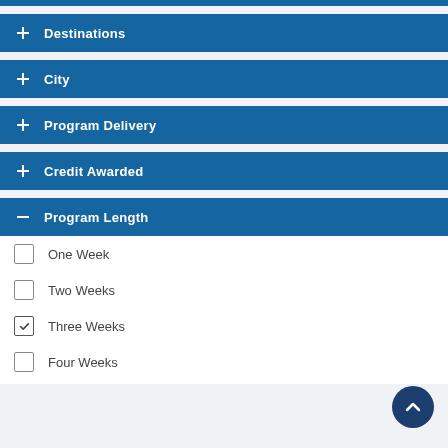Destinations
City
Program Delivery
Credit Awarded
Program Length
One Week
Two Weeks
Three Weeks (checked)
Four Weeks